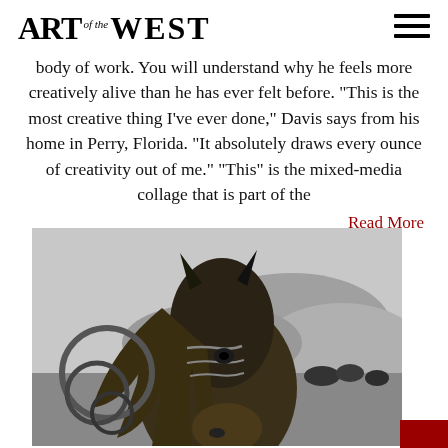ART of the WEST
body of work. You will understand why he feels more creatively alive than he has ever felt before. “This is the most creative thing I’ve ever done,” Davis says from his home in Perry, Florida. “It absolutely draws every ounce of creativity out of me.” “This” is the mixed-media collage that is part of the
Read More
[Figure (photo): Black and white close-up photograph of a horse's head with a rope halter, with mountains and cattle visible in the background.]